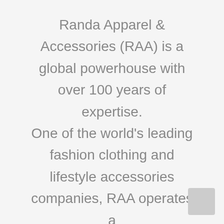Randa Apparel & Accessories (RAA) is a global powerhouse with over 100 years of expertise. One of the world's leading fashion clothing and lifestyle accessories companies, RAA operates a portfolio of 30+ brands across all channels of distribution.